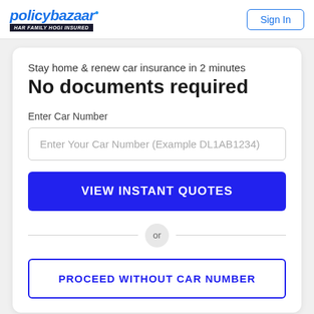policybazaar.com HAR FAMILY HOGI INSURED | Sign In
Stay home & renew car insurance in 2 minutes
No documents required
Enter Car Number
Enter Your Car Number (Example DL1AB1234)
VIEW INSTANT QUOTES
or
PROCEED WITHOUT CAR NUMBER